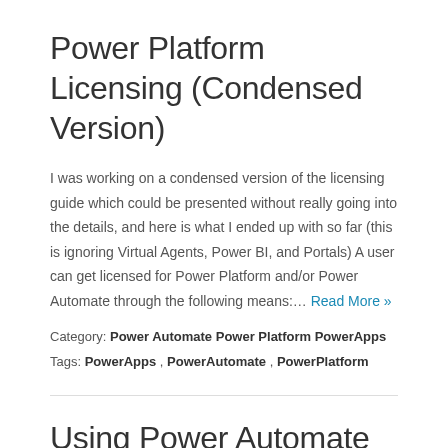Power Platform Licensing (Condensed Version)
I was working on a condensed version of the licensing guide which could be presented without really going into the details, and here is what I ended up with so far (this is ignoring Virtual Agents, Power BI, and Portals) A user can get licensed for Power Platform and/or Power Automate through the following means:… Read More »
Category: Power Automate  Power Platform  PowerApps
Tags: PowerApps ,  PowerAutomate ,  PowerPlatform
Using Power Automate to generate a document